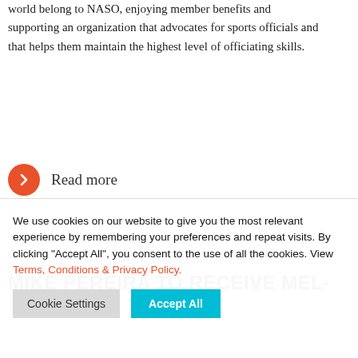world belong to NASO, enjoying member benefits and supporting an organization that advocates for sports officials and that helps them maintain the highest level of officiating skills.
Read more
03/07
2019
MIKE PEREIRA TO RECEIVE MEL-
We use cookies on our website to give you the most relevant experience by remembering your preferences and repeat visits. By clicking "Accept All", you consent to the use of all the cookies. View Terms, Conditions & Privacy Policy.